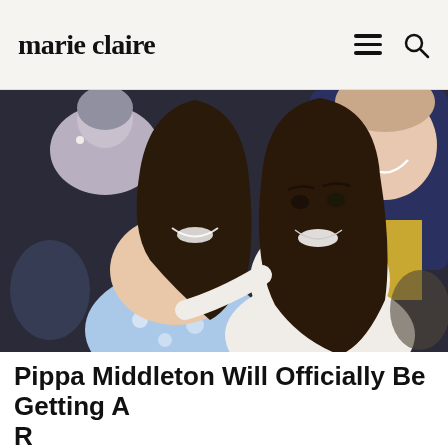marie claire
[Figure (photo): Two young women with long dark hair smiling and leaning together in a crowd, surrounded by other spectators including an older woman and a man in the background.]
Pippa Middleton Will Officially Be Getting A Royal Title
[Figure (other): Advertisement banner: 40% off Womens Clothing. Save 40% now on women clothing at Ashley Stewart. bit.ly]